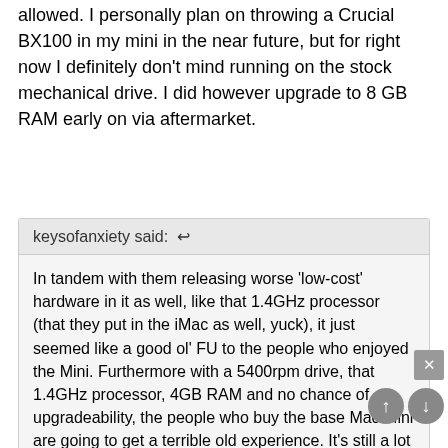allowed. I personally plan on throwing a Crucial BX100 in my mini in the near future, but for right now I definitely don't mind running on the stock mechanical drive. I did however upgrade to 8 GB RAM early on via aftermarket.
keysofanxiety said: ↩
In tandem with them releasing worse 'low-cost' hardware in it as well, like that 1.4GHz processor (that they put in the iMac as well, yuck), it just seemed like a good ol' FU to the people who enjoyed the Mini. Furthermore with a 5400rpm drive, that 1.4GHz processor, 4GB RAM and no chance of upgradeability, the people who buy the base Mac Mini are going to get a terrible old experience. It's still a lot of money and they're not going to get an acceptable experience
Click to expand...
I agree with you - and that's coming from someone running on a 5400 RPM drive. I don't find the system sluggish in the least bit because of a standard mid clock speed processor and a fair amou of memory, but the drive is still working like new but I k w be a matter of time before it starts to become sluggish. The